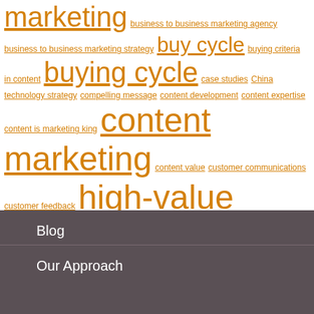marketing business to business marketing agency business to business marketing strategy buy cycle buying criteria in content buying cycle case studies China technology strategy compelling message content development content expertise content is marketing king content marketing content value customer communications customer feedback high-value content lead generation marketing ROI marketing strategy social media social media strategy trusted content virtual events white papers Tweets by TwitterDev
Blog
Our Approach